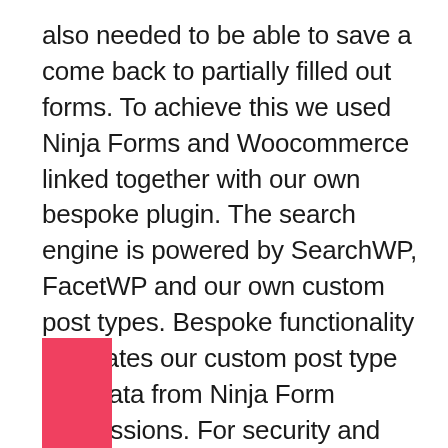also needed to be able to save a come back to partially filled out forms. To achieve this we used Ninja Forms and Woocommerce linked together with our own bespoke plugin. The search engine is powered by SearchWP, FacetWP and our own custom post types. Bespoke functionality populates our custom post type with data from Ninja Form submissions. For security and upgradability we only linked extensions via existing hooks, endpoints and APIs
[Figure (other): A red/pink rectangle block at bottom left of page]